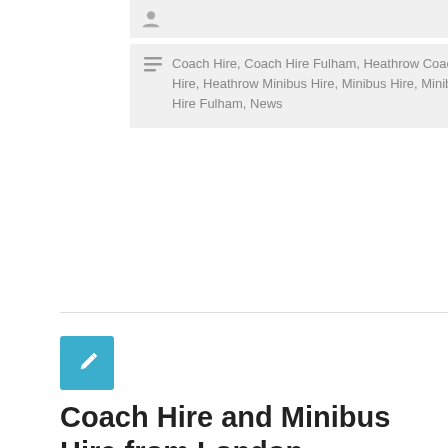[Figure (other): User avatar icon in a grey bar]
Coach Hire, Coach Hire Fulham, Heathrow Coach Hire, Heathrow Minibus Hire, Minibus Hire, Minibus Hire Fulham, News
[Figure (other): Teal/blue square with white pencil (edit) icon]
Coach Hire and Minibus Hire from London Heathrow to Hammersmith
London Heathrow (LHR) Airport Transfers Need